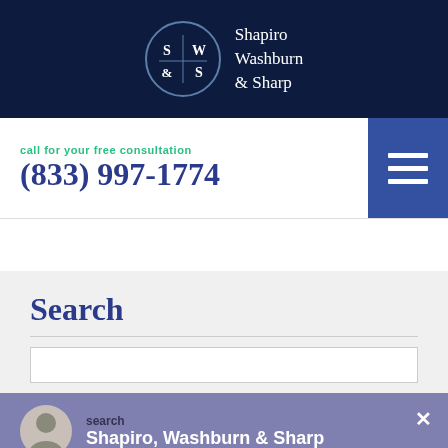[Figure (logo): Shapiro Washburn & Sharp law firm logo — circular emblem with S|W/&|S monogram in navy, beside firm name in white serif text on dark navy background]
call for your free consultation
(833) 997-1774
Search
search
Shapiro, Washburn & Sharp
Need legal assistance? Get help instantly!
FREE CASE EVALUATION